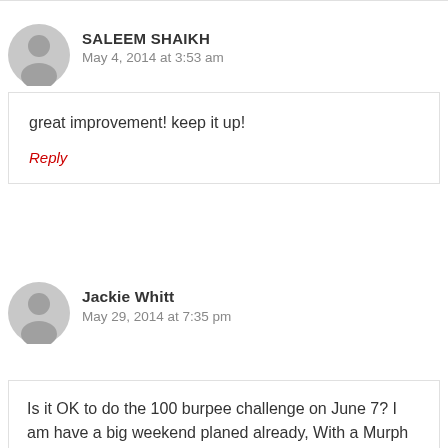SALEEM SHAIKH
May 4, 2014 at 3:53 am
great improvement! keep it up!
Reply
Jackie Whitt
May 29, 2014 at 7:35 pm
Is it OK to do the 100 burpee challenge on June 7? I am have a big weekend planed already, With a Murph challenge